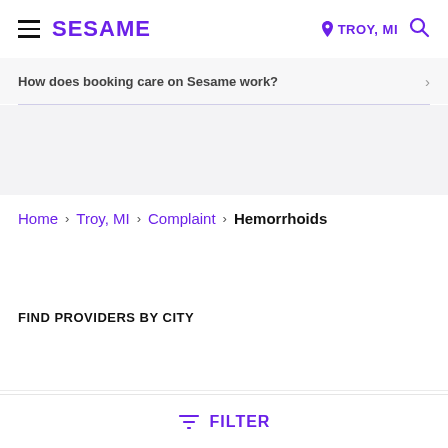SESAME — TROY, MI
How does booking care on Sesame work?
Home > Troy, MI > Complaint > Hemorrhoids
FIND PROVIDERS BY CITY
DOCTORS IN DETROIT, MI
FILTER